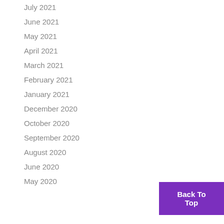July 2021
June 2021
May 2021
April 2021
March 2021
February 2021
January 2021
December 2020
October 2020
September 2020
August 2020
June 2020
May 2020
Back To Top